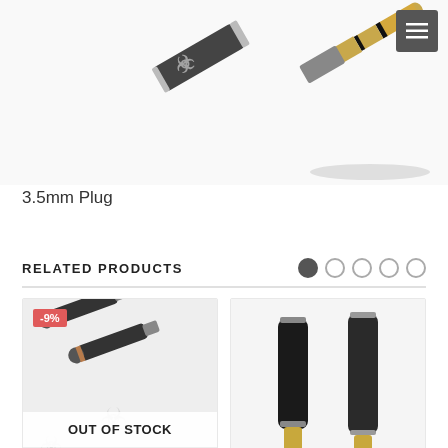[Figure (photo): Close-up photo of a 3.5mm audio plug with gold tip and dark carbon fiber barrel, branded with a biohazard-style logo]
3.5mm Plug
RELATED PRODUCTS
[Figure (photo): Two dark carbon fiber audio plugs with rose gold accents, showing OUT OF STOCK overlay and -9% badge]
[Figure (photo): Two 6.35mm audio plugs with gold tips and carbon fiber/dark barrel, shown side by side on white background]